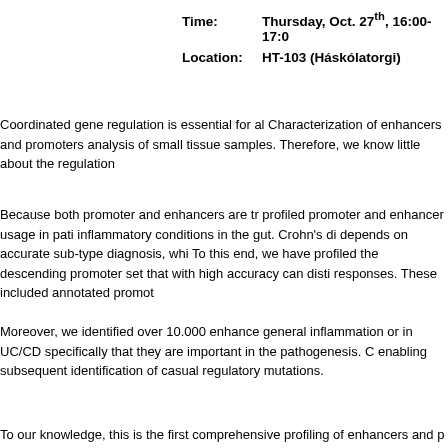Time: Thursday, Oct. 27th, 16:00-17:0
Location: HT-103 (Háskólatorgi)
Coordinated gene regulation is essential for al... Characterization of enhancers and promoters ... analysis of small tissue samples. Therefore, we know little about the regulation...
Because both promoter and enhancers are tr... profiled promoter and enhancer usage in pati... inflammatory conditions in the gut. Crohn's di... depends on accurate sub-type diagnosis, whi... To this end, we have profiled the descending ... promoter set that with high accuracy can disti... responses. These included annotated promot...
Moreover, we identified over 10.000 enhance... general inflammation or in UC/CD specifically... that they are important in the pathogenesis. C... enabling subsequent identification of casual regulatory mutations.
To our knowledge, this is the first comprehensive profiling of enhancers and pr...